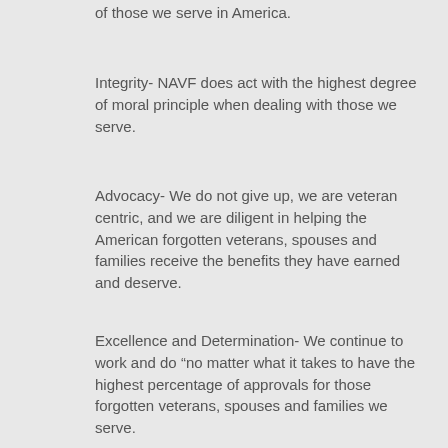of those we serve in America.
Integrity- NAVF does act with the highest degree of moral principle when dealing with those we serve.
Advocacy- We do not give up, we are veteran centric, and we are diligent in helping the American forgotten veterans, spouses and families receive the benefits they have earned and deserve.
Excellence and Determination- We continue to work and do “no matter what it takes to have the highest percentage of approvals for those forgotten veterans, spouses and families we serve.